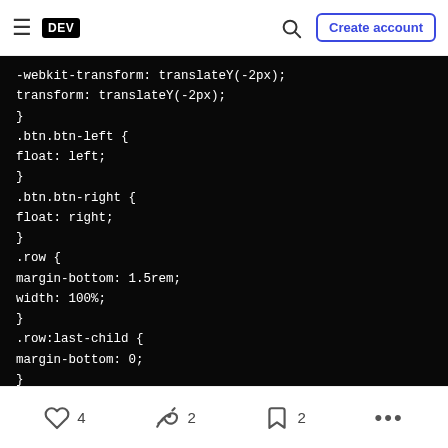DEV — Create account
[Figure (screenshot): Code block on dark background showing CSS code: -webkit-transform: translateY(-2px); transform: translateY(-2px); } .btn.btn-left { float: left; } .btn.btn-right { float: right; } .row { margin-bottom: 1.5rem; width: 100%; } .row:last-child { margin-bottom: 0; }]
4 likes  2 reactions  2 bookmarks  more options